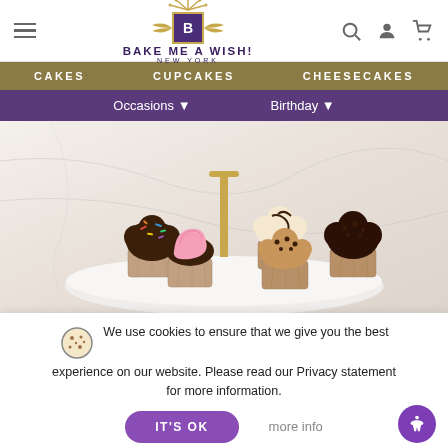[Figure (screenshot): Bake Me a Wish! website header with logo, navigation bars, and cupcake hero image with cookie consent banner]
BAKE ME A WISH! NEW YORK
CAKES   CUPCAKES   CHEESECAKES
Occasions ▼   Birthday ▼
[Figure (photo): Five decorated chocolate cupcakes arranged on a white marble plate with a gold letter T topper. Cupcakes have various toppings: rainbow sprinkles, pink frosting, chocolate drizzle, peanut butter chips, chocolate frosting.]
We use cookies to ensure that we give you the best experience on our website. Please read our Privacy statement for more information.
IT'S OK
more info